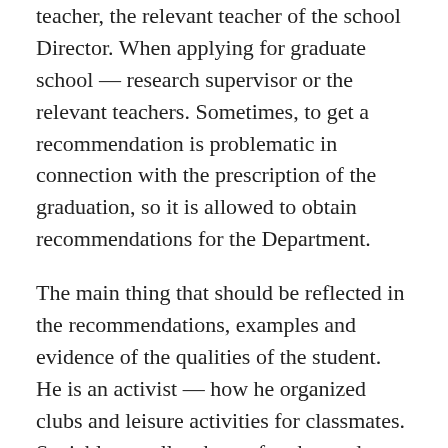teacher, the relevant teacher of the school Director. When applying for graduate school — research supervisor or the relevant teachers. Sometimes, to get a recommendation is problematic in connection with the prescription of the graduation, so it is allowed to obtain recommendations for the Department.
The main thing that should be reflected in the recommendations, examples and evidence of the qualities of the student. He is an activist — how he organized clubs and leisure activities for classmates. Sociable — tell us how often he made presentations. The volume should not exceed half a sheet; it is better if you will see one.
We have prepared for you a special section, which will help in writing letters of recommendation, but in order to be sure of the correctness of his writing